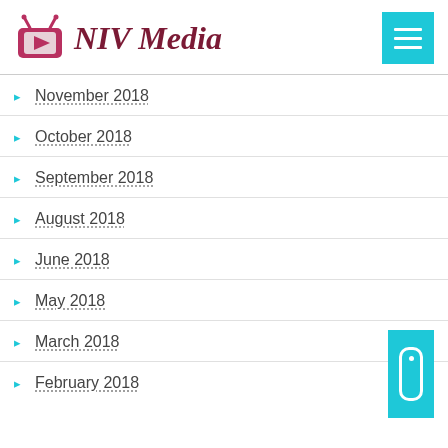NIV Media
November 2018
October 2018
September 2018
August 2018
June 2018
May 2018
March 2018
February 2018